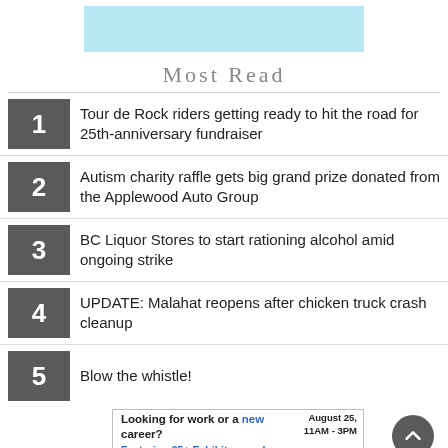[Figure (other): Light blue advertisement banner at top]
Most Read
1 Tour de Rock riders getting ready to hit the road for 25th-anniversary fundraiser
2 Autism charity raffle gets big grand prize donated from the Applewood Auto Group
3 BC Liquor Stores to start rationing alcohol amid ongoing strike
4 UPDATE: Malahat reopens after chicken truck crash cleanup
5 Blow the whistle!
[Figure (other): Advertisement: Looking for work or a new career? August 25, 11AM-3PM. Featuring 25+ Exhibitors and Growing! CLICK HERE]